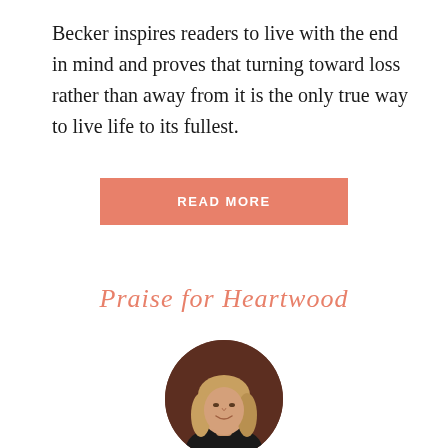Becker inspires readers to live with the end in mind and proves that turning toward loss rather than away from it is the only true way to live life to its fullest.
READ MORE
Praise for Heartwood
[Figure (photo): Circular portrait photo of a woman with shoulder-length blonde hair wearing a black top, against a warm dark background.]